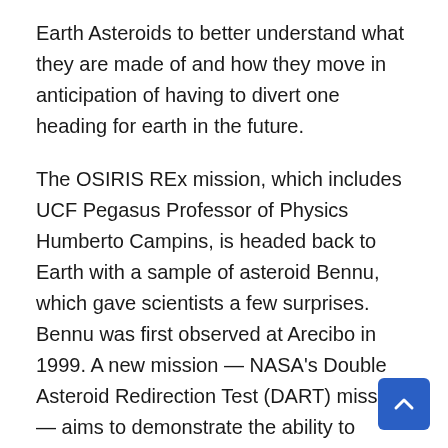Earth Asteroids to better understand what they are made of and how they move in anticipation of having to divert one heading for earth in the future.
The OSIRIS REx mission, which includes UCF Pegasus Professor of Physics Humberto Campins, is headed back to Earth with a sample of asteroid Bennu, which gave scientists a few surprises. Bennu was first observed at Arecibo in 1999. A new mission — NASA's Double Asteroid Redirection Test (DART) mission — aims to demonstrate the ability to redirect an asteroid using the kinetic energy of a projectile. The spacecraft launched in November 2021 and is expected to reach its target — the Dimorphos asteroid — on